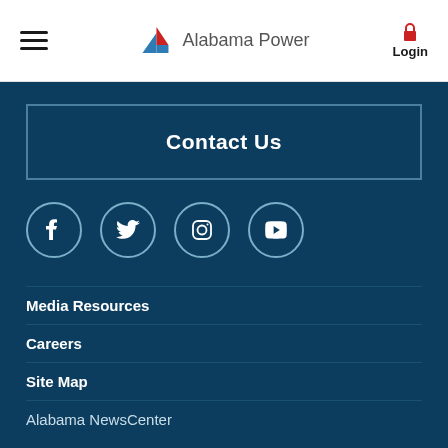[Figure (logo): Alabama Power logo with triangle icon and text]
[Figure (infographic): Footer section with Contact Us button, social media icons (Facebook, Twitter, Instagram, YouTube), and navigation links]
Media Resources
Careers
Site Map
Alabama NewsCenter